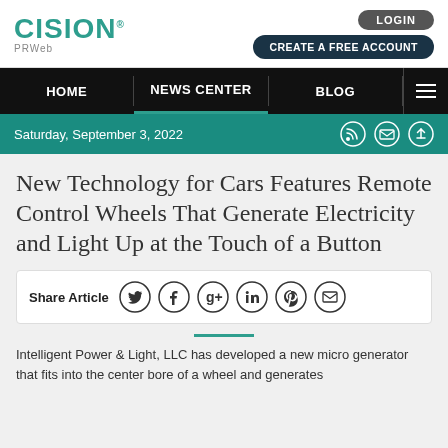CISION PRWeb — LOGIN — CREATE A FREE ACCOUNT
HOME | NEWS CENTER | BLOG
Saturday, September 3, 2022
New Technology for Cars Features Remote Control Wheels That Generate Electricity and Light Up at the Touch of a Button
Share Article
Intelligent Power & Light, LLC has developed a new micro generator that fits into the center bore of a wheel and generates